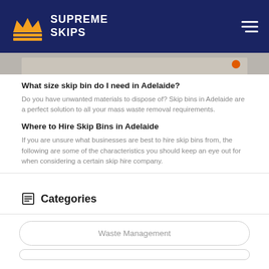[Figure (logo): Supreme Skips logo with orange crown and navigation bar on dark navy blue background with hamburger menu icon]
[Figure (photo): Partial photo of a skip bin, showing bottom edge of bin against concrete surface with orange element visible]
What size skip bin do I need in Adelaide?
Do you have unwanted materials to dispose of? Skip bins in Adelaide are a perfect solution to all your mass waste removal requirements.
Where to Hire Skip Bins in Adelaide
If you are unsure what businesses are best to hire skip bins from, the following are some of the characteristics you should keep an eye out for when considering a certain skip hire company.
Categories
Waste Management